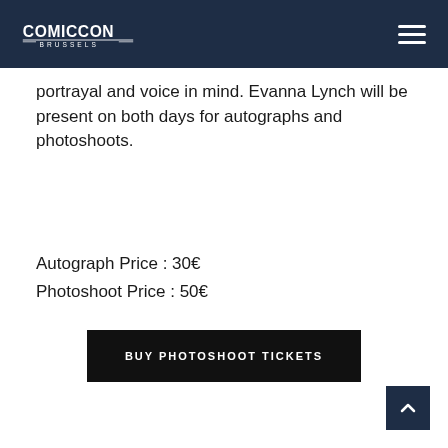Comic Con Brussels
portrayal and voice in mind. Evanna Lynch will be present on both days for autographs and photoshoots.
Autograph Price : 30€
Photoshoot Price : 50€
BUY PHOTOSHOOT TICKETS